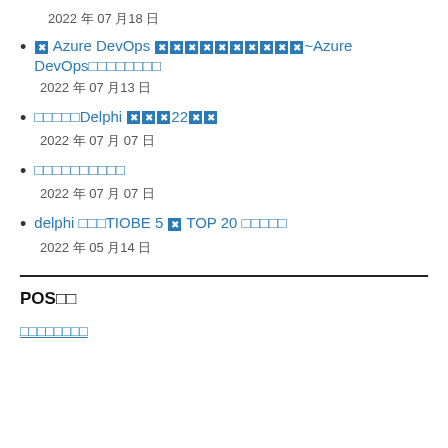2022年07月18日
✖ Azure DevOps ✖✖✖✖✖✖✖✖✖✖~Azure DevOps□□□□□□□□
2022年07月13日
□□□□□Delphi ✖✖✖22✖✖
2022年07月07日
□□□□□□□□□□
2022年07月07日
delphi □□□TIOBE 5 ✖ TOP 20 □□□□□
2022年05月14日
POS□□
□□□□□□□□